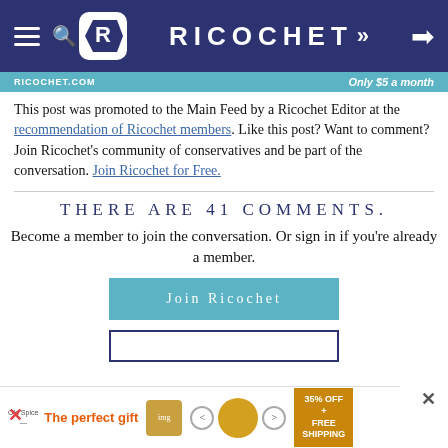RICOCHET
RICOCHET.COM | Only $5 a month
This post was promoted to the Main Feed by a Ricochet Editor at the recommendation of Ricochet members. Like this post? Want to comment? Join Ricochet’s community of conservatives and be part of the conversation. Join Ricochet for Free.
THERE ARE 41 COMMENTS.
Become a member to join the conversation. Or sign in if you’re already a member.
Join Ricochet
[Figure (screenshot): Advertisement banner: The perfect gift, 35% OFF + FREE SHIPPING]